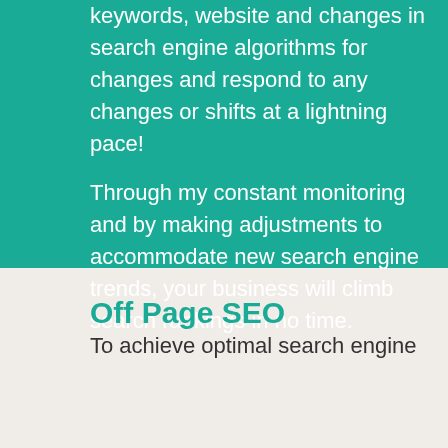keywords, website and changes in search engine algorithms for changes and respond to any changes or shifts at a lightning pace!
Through my constant monitoring and by making adjustments to accommodate new search engine trends, your business will climb search rankings in no time.
Off Page SEO
To achieve optimal search engine